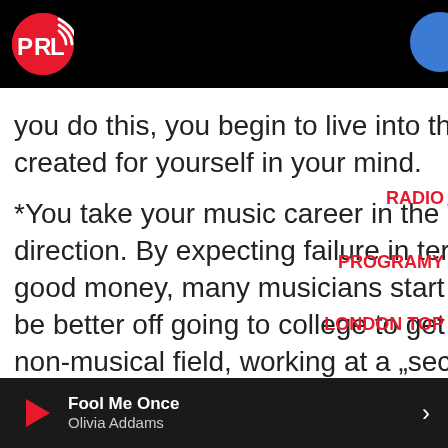[Figure (logo): PRL Radio logo — red circle with white letters PRL and wifi/broadcast icon on black header bar]
you do this, you begin to live into the w created for yourself in your mind.
*You take your music career in the WR direction. By expecting failure in term good money, many musicians start th be better off going to college to get a non-musical field, working at a „secur THEN going after their music career d their spare time. In the end, they almost always end up failing with this approach.
RADIO
PROGRAMY
LONDON TOP
*You eat the goose that lays golden eggs. Note:
Fool Me Once Olivia Addams